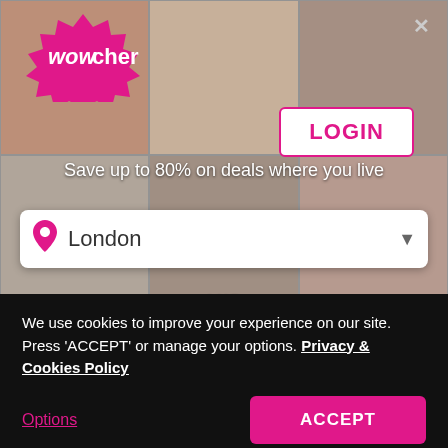[Figure (screenshot): Wowcher website screenshot showing login overlay with location selector and Google sign-up button on a blurred background of lifestyle images]
wowcher
LOGIN
Save up to 80% on deals where you live
London
AND
Sign up with Google
We use cookies to improve your experience on our site. Press 'ACCEPT' or manage your options. Privacy & Cookies Policy
Options
ACCEPT